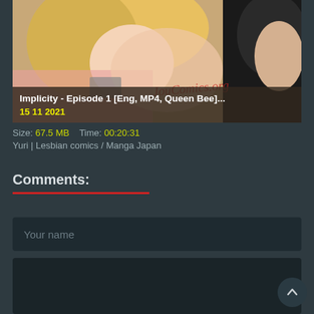[Figure (illustration): Anime/manga style illustration showing two characters in an intimate scene, partially blurred. Overlaid with title and date text: 'Implicity - Episode 1 [Eng, MP4, Queen Bee]...' and '15 11 2021']
Size: 67.5 MB   Time: 00:20:31
Yuri | Lesbian comics / Manga Japan
Comments:
Your name